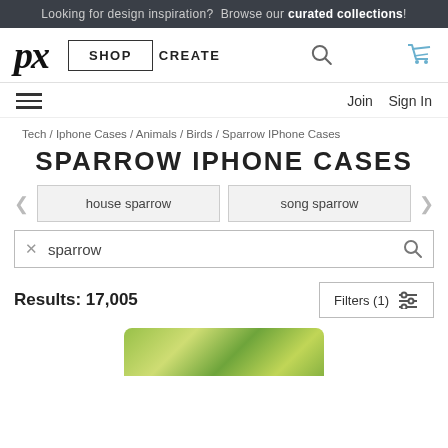Looking for design inspiration? Browse our curated collections!
[Figure (logo): px stylized italic logo]
SHOP  CREATE
Join  Sign In
Tech / Iphone Cases / Animals / Birds / Sparrow IPhone Cases
SPARROW IPHONE CASES
house sparrow  song sparrow
sparrow
Results: 17,005
Filters (1)
[Figure (photo): Partial product image of a sparrow iPhone case with green/yellow bird illustration]